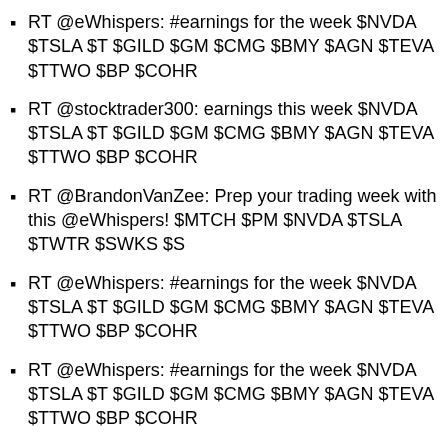RT @eWhispers: #earnings for the week $NVDA $TSLA $T $GILD $GM $CMG $BMY $AGN $TEVA $TTWO $BP $COHR
RT @stocktrader300: earnings this week $NVDA $TSLA $T $GILD $GM $CMG $BMY $AGN $TEVA $TTWO $BP $COHR
RT @BrandonVanZee: Prep your trading week with this @eWhispers! $MTCH $PM $NVDA $TSLA $TWTR $SWKS $S
RT @eWhispers: #earnings for the week $NVDA $TSLA $T $GILD $GM $CMG $BMY $AGN $TEVA $TTWO $BP $COHR
RT @eWhispers: #earnings for the week $NVDA $TSLA $T $GILD $GM $CMG $BMY $AGN $TEVA $TTWO $BP $COHR
RT @eWhispers: #earnings for the week $NVDA $TSLA $T $GILD $GM $CMG $BMY $AGN $TEVA $TTWO $BP $COHR
RT @eWhispers: #earnings for the week $NVDA $TSLA $T $GILD $GM $CMG $BMY $AGN $TEVA $TTWO $BP $COHR
RT @eWhispers: #earnings for the week $NVDA $TSLA $T $GILD $GM $CMG $BMY $AGN $TEVA $TTWO $BP $COHR